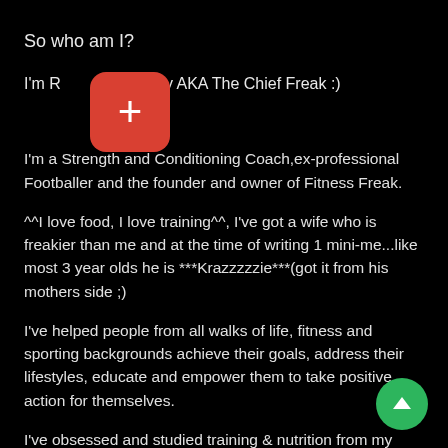So who am I?
I'm R[icon] Kennedy AKA The Chief Freak :)
I'm a Strength and Conditioning Coach,ex-professional Footballer and the founder and owner of Fitness Freak.
^^I love food, I love training^^, I've got a wife who is freakier than me and at the time of writing 1 mini-me...like most 3 year olds he is ***Krazzzzzie***(got it from his mothers side ;)
I've helped people from all walks of life, fitness and sporting backgrounds achieve their goals, address their lifestyles, educate and empower them to take positive action for themselves.
I've obsessed and studied training & nutrition from my early days as a young professional soccer player and as my career progressed it was this side of the sport that really got my juices flowing.
I'm a self thought cook....having flown from my native Rathgormack nest at the age of 16 to the UK I soon became self